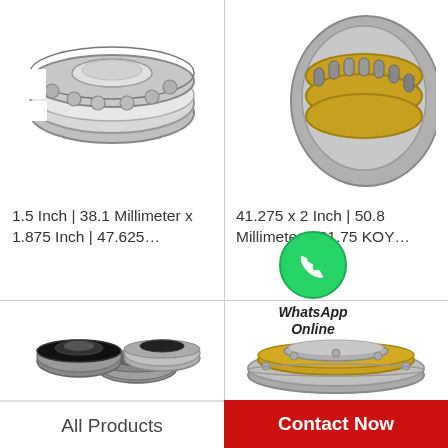[Figure (photo): Thrust bearing, silver/chrome, flat ring type with ball bearings visible, top-left quadrant]
[Figure (photo): Spherical roller bearing, silver and gold/yellow cage, partial view, top-right quadrant]
1.5 Inch | 38.1 Millimeter x 1.875 Inch | 47.625…
41.275 x 2 Inch | 50.8 Millimeter x 31.75 KOY…
[Figure (photo): WhatsApp icon (green circle with phone handset) with text 'WhatsApp Online']
[Figure (photo): Three small deep groove ball bearings with rubber seals, dark/silver, bottom-left quadrant]
[Figure (photo): Single cylindrical roller bearing, gold/silver cage, wide flat ring, bottom-right quadrant]
All Products
Contact Now